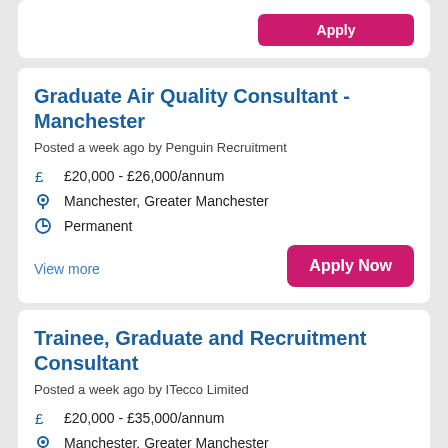[Figure (screenshot): Partial job listing card at top with pink Apply button visible]
Graduate Air Quality Consultant - Manchester
Posted a week ago by Penguin Recruitment
£ £20,000 - £26,000/annum
Manchester, Greater Manchester
Permanent
View more
Trainee, Graduate and Recruitment Consultant
Posted a week ago by ITecco Limited
£ £20,000 - £35,000/annum
Manchester, Greater Manchester
Permanent